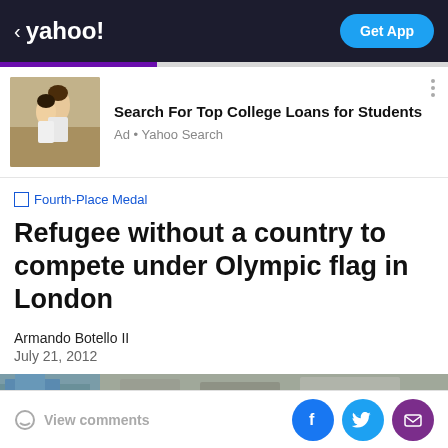< yahoo!   Get App
[Figure (advertisement): Ad banner: two happy young women, one giving the other a piggyback ride outdoors. Text: Search For Top College Loans for Students. Ad • Yahoo Search]
Fourth-Place Medal
Refugee without a country to compete under Olympic flag in London
Armando Botello II
July 21, 2012
[Figure (photo): Partial photo of outdoor stone/brick scene, partially visible at bottom of page]
View comments | Facebook | Twitter | Email